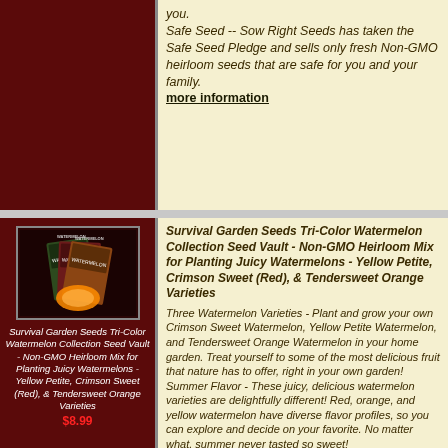you.
Safe Seed -- Sow Right Seeds has taken the Safe Seed Pledge and sells only fresh Non-GMO heirloom seeds that are safe for you and your family.
more information
[Figure (photo): Dark red/maroon product image background top left]
[Figure (photo): Survival Garden Seeds Tri-Color Watermelon Collection seed packets product image]
Survival Garden Seeds Tri-Color Watermelon Collection Seed Vault - Non-GMO Heirloom Mix for Planting Juicy Watermelons - Yellow Petite, Crimson Sweet (Red), & Tendersweet Orange Varieties
$8.99
Survival Garden Seeds Tri-Color Watermelon Collection Seed Vault - Non-GMO Heirloom Mix for Planting Juicy Watermelons - Yellow Petite, Crimson Sweet (Red), & Tendersweet Orange Varieties
Three Watermelon Varieties - Plant and grow your own Crimson Sweet Watermelon, Yellow Petite Watermelon, and Tendersweet Orange Watermelon in your home garden. Treat yourself to some of the most delicious fruit that nature has to offer, right in your own garden!
Summer Flavor - These juicy, delicious watermelon varieties are delightfully different! Red, orange, and yellow watermelon have diverse flavor profiles, so you can explore and decide on your favorite. No matter what, summer never tasted so sweet!
Grow Now or Later - Plant now or store for future growing seasons. Will remain viable for years if stored in a cool dry location. Each packet has instructions for saving seeds so you can perpetuate your harvest and share with others.
Easy to Grow - Seeds are packed in a beautiful paper packet with instructions for successful growing and germination in your own home.